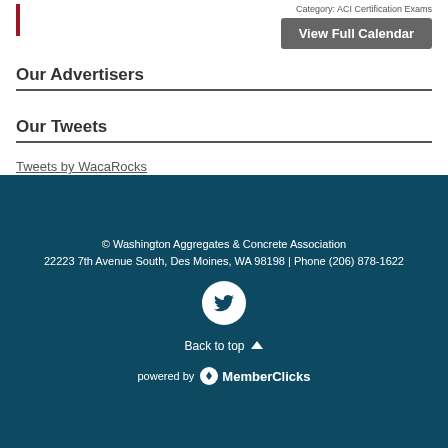Category: ACI Certification Exams
View Full Calendar
Our Advertisers
Our Tweets
Tweets by WacaRocks
© Washington Aggregates & Concrete Association
22223 7th Avenue South, Des Moines, WA 98198 | Phone (206) 878-1622
Back to top
powered by MemberClicks